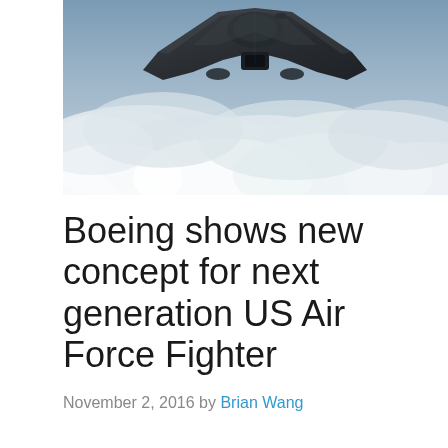[Figure (photo): A dark stealth aircraft concept flying above clouds against a dramatic sky. The aircraft has a flying-wing design with a smooth dark grey surface, viewed from above-front angle.]
Boeing shows new concept for next generation US Air Force Fighter
November 2, 2016 by Brian Wang